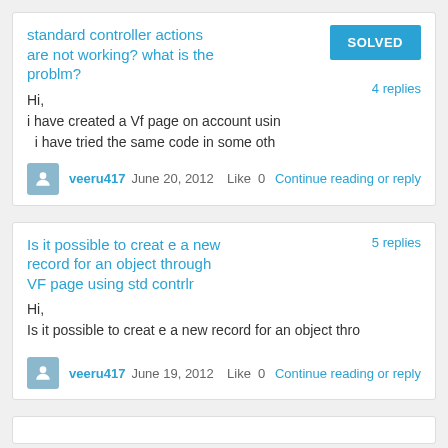standard controller actions are not working? what is the problm?
Hi,
i have created a Vf page on account usin
  i have tried the same code in some oth
veeru417  June 20, 2012  Like  0  Continue reading or reply
Is it possible to creat e a new record for an object through VF page using std contrlr
Hi,
Is it possible to creat e a new record for an object thro
veeru417  June 19, 2012  Like  0  Continue reading or reply